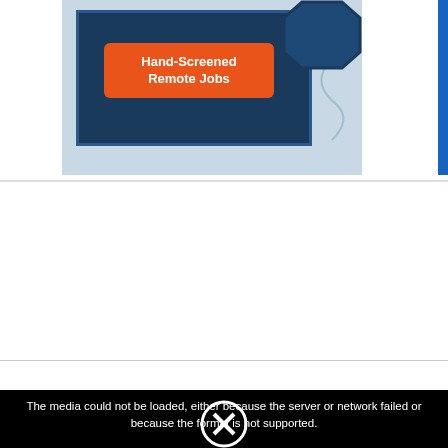[Figure (screenshot): Advertisement banner showing a dark navy blue hexagonal/rectangular shape with an orange button labeled 'Hand-Screened Remote Jobs' on a light blue-gray background]
[Figure (screenshot): Infolinks branded overlay bar at the bottom of the page with a media error message overlay: 'The media could not be loaded, either because the server or network failed or because the format is not supported.' with a close button and X icon]